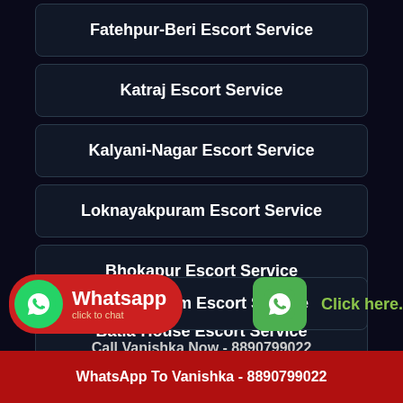Fatehpur-Beri Escort Service
Katraj Escort Service
Kalyani-Nagar Escort Service
Loknayakpuram Escort Service
Bhokapur Escort Service
Batla-House Escort Service
Matunga-West Escort Service
...ambakkam Escort Service
Call Vanishka Now - 8890799022
WhatsApp To Vanishka - 8890799022